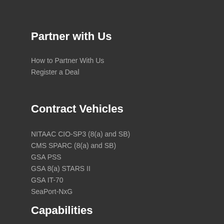Partner with Us
How to Partner With Us
Register a Deal
Contract Vehicles
NITAAC CIO-SP3 (8(a) and SB)
CMS SPARC (8(a) and SB)
GSA PSS
GSA 8(a) STARS II
GSA IT-70
SeaPort-NxG
Capabilities